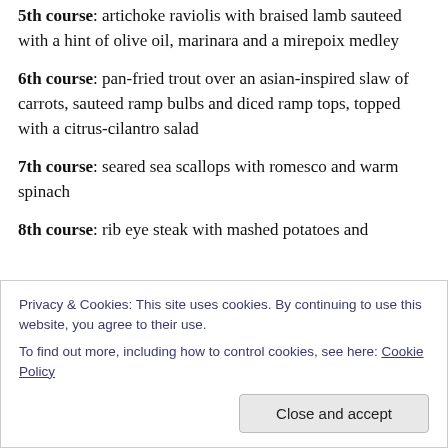5th course:  artichoke raviolis with braised lamb sauteed with a hint of olive oil, marinara and a mirepoix medley
6th course:  pan-fried trout over an asian-inspired slaw of carrots, sauteed ramp bulbs and diced ramp tops, topped with a citrus-cilantro salad
7th course:  seared sea scallops with romesco and warm spinach
8th course:  rib eye steak with mashed potatoes and
Privacy & Cookies: This site uses cookies. By continuing to use this website, you agree to their use.
To find out more, including how to control cookies, see here: Cookie Policy
Close and accept